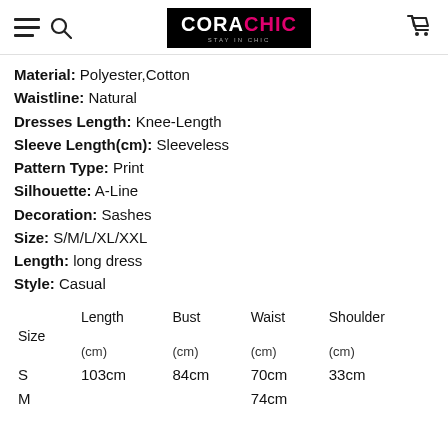CORACHIC - STAY IN CHIC
Material: Polyester,Cotton
Waistline: Natural
Dresses Length: Knee-Length
Sleeve Length(cm): Sleeveless
Pattern Type: Print
Silhouette: A-Line
Decoration: Sashes
Size: S/M/L/XL/XXL
Length: long dress
Style: Casual
| Size | Length (cm) | Bust (cm) | Waist (cm) | Shoulder (cm) |
| --- | --- | --- | --- | --- |
| S | 103cm | 84cm | 70cm | 33cm |
| M |  |  | 74cm |  |